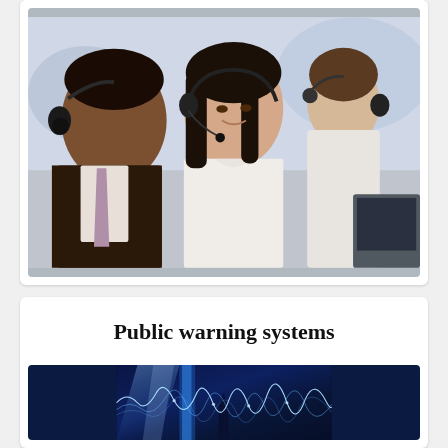[Figure (photo): Three call center workers wearing headsets, in a professional office setting. A woman in the center faces the camera smiling, flanked by two men in profile view.]
Public warning systems
[Figure (photo): Abstract blue digital waveform/signal visualization on dark blue background, suggesting radio signals or warning broadcast transmissions.]